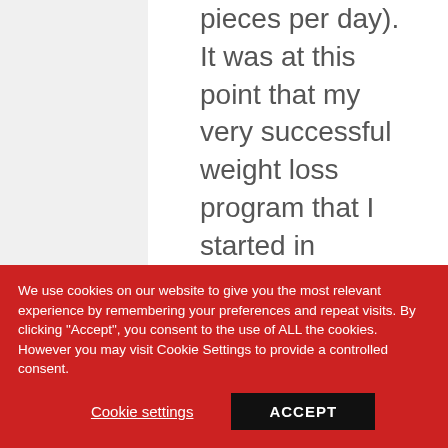pieces per day). It was at this point that my very successful weight loss program that I started in February (consisting of pretty
We use cookies on our website to give you the most relevant experience by remembering your preferences and repeat visits. By clicking "Accept", you consent to the use of ALL the cookies. However you may visit Cookie Settings to provide a controlled consent.
Cookie settings
ACCEPT